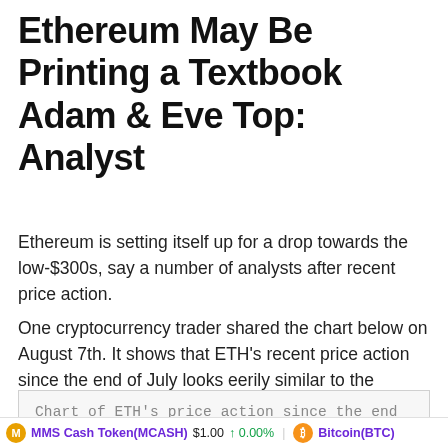Ethereum May Be Printing a Textbook Adam & Eve Top: Analyst
Ethereum is setting itself up for a drop towards the low-$300s, say a number of analysts after recent price action.
One cryptocurrency trader shared the chart below on August 7th. It shows that ETH's recent price action since the end of July looks eerily similar to the textbook “Adam and Eve” top. Cryptocurrencies have printed Adam and Eve bottoms and tops on multiple occasions over the past few years.
Chart of ETH's price action since the end
MMS Cash Token(MCASH) $1.00 ↑ 0.00%   Bitcoin(BTC)